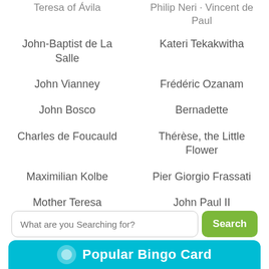Teresa of Ávila
Philip Neri · Vincent de Paul
John-Baptist de La Salle
Kateri Tekakwitha
John Vianney
Frédéric Ozanam
John Bosco
Bernadette
Charles de Foucauld
Thérèse, the Little Flower
Maximilian Kolbe
Pier Giorgio Frassati
Mother Teresa
John Paul II
Francis of Assisi